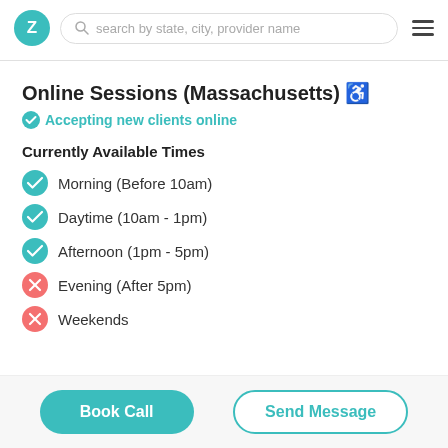Z | search by state, city, provider name
Online Sessions (Massachusetts) ♿
✓ Accepting new clients online
Currently Available Times
✓ Morning (Before 10am)
✓ Daytime (10am - 1pm)
✓ Afternoon (1pm - 5pm)
✗ Evening (After 5pm)
✗ Weekends
Book Call | Send Message